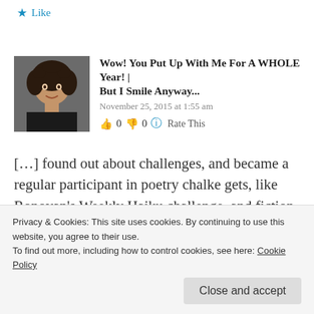Like
[Figure (photo): Avatar photo of a person with curly hair wearing a black top]
Wow! You Put Up With Me For A WHOLE Year! | But I Smile Anyway...
November 25, 2015 at 1:55 am
👍 0 👎 0 ℹ Rate This
[…] found out about challenges, and became a regular participant in poetry chalke gets, like Ronovan's Weekly Haiku challenge, and fiction, like the Flash Fiction For…
Privacy & Cookies: This site uses cookies. By continuing to use this website, you agree to their use.
To find out more, including how to control cookies, see here: Cookie Policy
Close and accept